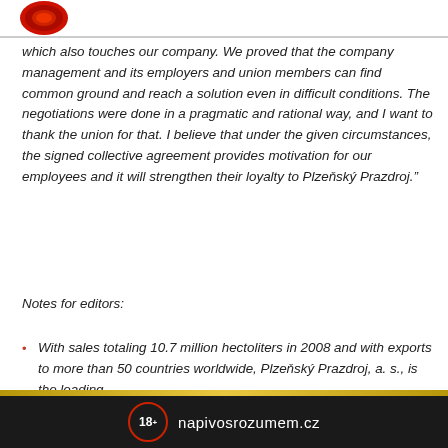[Figure (logo): Plzeňský Prazdroj red circular logo in top left corner]
which also touches our company. We proved that the company management and its employers and union members can find common ground and reach a solution even in difficult conditions. The negotiations were done in a pragmatic and rational way, and I want to thank the union for that. I believe that under the given circumstances, the signed collective agreement provides motivation for our employees and it will strengthen their loyalty to Plzeňský Prazdroj."
Notes for editors:
With sales totaling 10.7 million hectoliters in 2008 and with exports to more than 50 countries worldwide, Plzeňský Prazdroj, a. s., is the leading
18+ napivosrozumem.cz